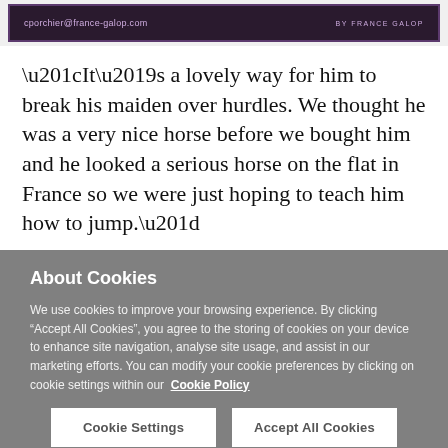[Figure (screenshot): Dark purple/maroon banner with email address 'cporchier@france-galop.com' on the left and 'BY FRANCE GALOP' text/logo on the right]
“It’s a lovely way for him to break his maiden over hurdles. We thought he was a very nice horse before we bought him and he looked a serious horse on the flat in France so we were just hoping to teach him how to jump.”
About Cookies
We use cookies to improve your browsing experience. By clicking “Accept All Cookies”, you agree to the storing of cookies on your device to enhance site navigation, analyse site usage, and assist in our marketing efforts. You can modify your cookie preferences by clicking on cookie settings within our  Cookie Policy
Cookie Settings
Accept All Cookies